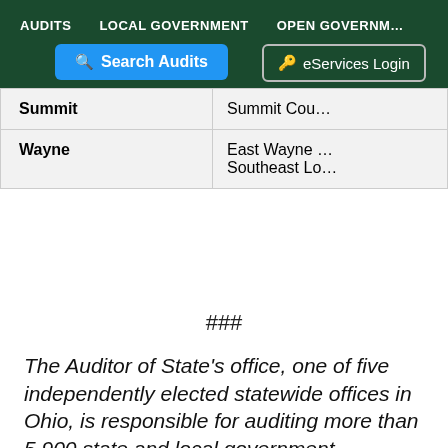AUDITS   LOCAL GOVERNMENT   OPEN GOVERNMENT
[Figure (screenshot): Navigation bar with Search Audits button and eServices Login button on dark green background]
| Summit | Summit Cou… |
| Wayne | East Wayne …
Southeast Lo… |
###
The Auditor of State's office, one of five independently elected statewide offices in Ohio, is responsible for auditing more than 5,900 state and local government…